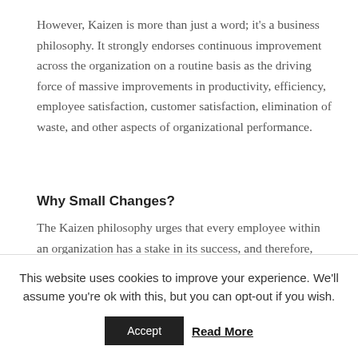However, Kaizen is more than just a word; it's a business philosophy. It strongly endorses continuous improvement across the organization on a routine basis as the driving force of massive improvements in productivity, efficiency, employee satisfaction, customer satisfaction, elimination of waste, and other aspects of organizational performance.
Why Small Changes?
The Kaizen philosophy urges that every employee within an organization has a stake in its success, and therefore, they all should strive to make improvements routinely at all times. The changes need not necessarily
This website uses cookies to improve your experience. We'll assume you're ok with this, but you can opt-out if you wish.